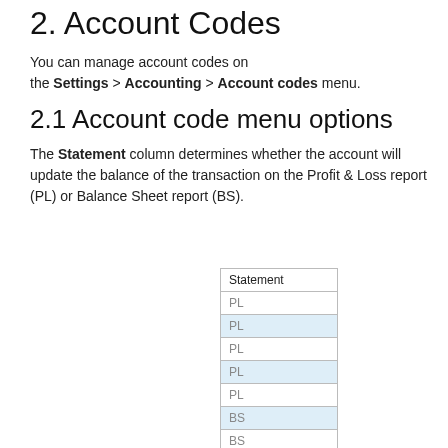2. Account Codes
You can manage account codes on the Settings > Accounting > Account codes menu.
2.1 Account code menu options
The Statement column determines whether the account will update the balance of the transaction on the Profit & Loss report (PL) or Balance Sheet report (BS).
| Statement |
| --- |
| PL |
| PL |
| PL |
| PL |
| PL |
| BS |
| BS |